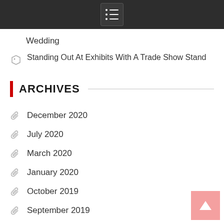Navigation menu bar
Wedding
Standing Out At Exhibits With A Trade Show Stand
ARCHIVES
December 2020
July 2020
March 2020
January 2020
October 2019
September 2019
July 2019
May 2019